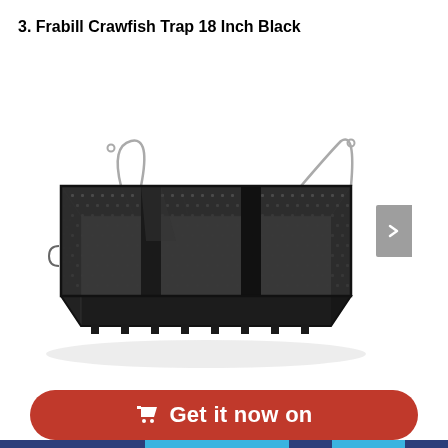3. Frabill Crawfish Trap 18 Inch Black
[Figure (photo): Photo of a Frabill Crawfish Trap 18 Inch Black — a rectangular wire mesh trap with two funnel entrances on each end, metal wire handles on top, and a black powder-coated finish.]
Get it now on